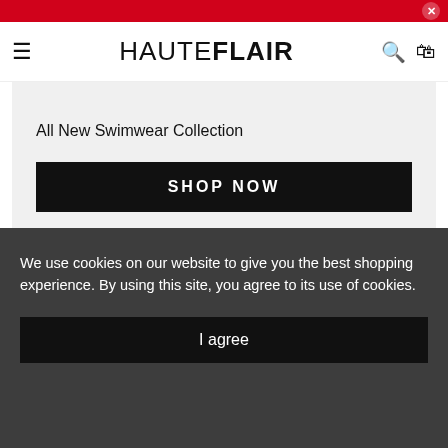HAUTEFLAIR
All New Swimwear Collection
SHOP NOW
We use cookies on our website to give you the best shopping experience. By using this site, you agree to its use of cookies.
I agree